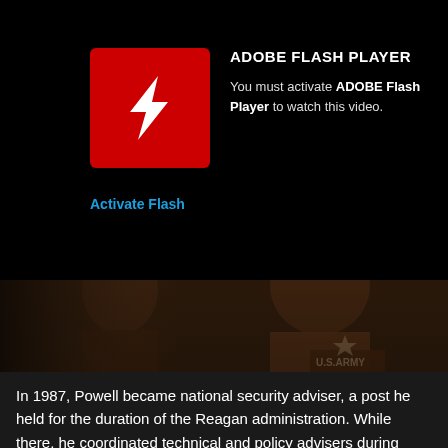[Figure (screenshot): Adobe Flash Player activation prompt with red Flash logo icon on black background]
ADOBE FLASH PLAYER
You must activate ADOBE Flash Player to watch this video.
Activate Flash
[Figure (photo): Sepia-toned photo of two men, one in a U.S. Army uniform]
National Security Adviser
In 1987, Powell became national security adviser, a post he held for the duration of the Reagan administration. While there, he coordinated technical and policy advisers during